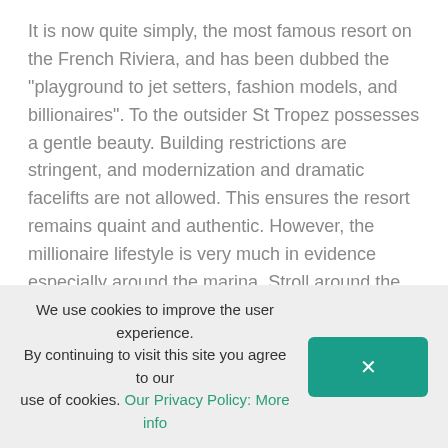It is now quite simply, the most famous resort on the French Riviera, and has been dubbed the "playground to jet setters, fashion models, and billionaires". To the outsider St Tropez possesses a gentle beauty. Building restrictions are stringent, and modernization and dramatic facelifts are not allowed. This ensures the resort remains quaint and authentic. However, the millionaire lifestyle is very much in evidence especially around the marina. Stroll around the many designer shops, or for top-end artwork, visit Galerie des Lices. Pampelonne beach is where the jet-set play.

The seaside village Saint Tropez is still very popular with the tourists, although the jet-set and the in-crowd have long since left it behind. Set on the lovely blue water of
We use cookies to improve the user experience. By continuing to visit this site you agree to our use of cookies. Our Privacy Policy: More info